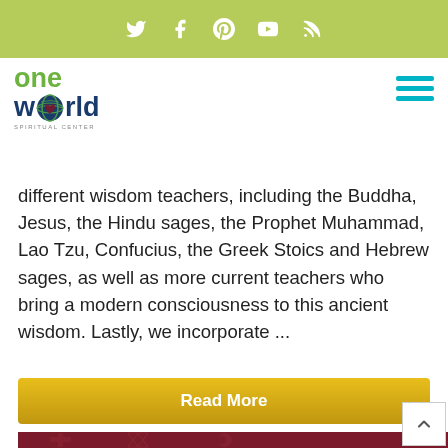Social media icons: Twitter, Facebook, Pinterest, YouTube, RSS
[Figure (logo): One World Spiritual Center logo — 'one' in green, 'world' in dark blue with globe icon replacing the 'o']
different wisdom teachers, including the Buddha, Jesus, the Hindu sages, the Prophet Muhammad, Lao Tzu, Confucius, the Greek Stoics and Hebrew sages, as well as more current teachers who bring a modern consciousness to this ancient wisdom. Lastly, we incorporate ...
Read More
[Figure (photo): Dark red/maroon background with faint religious symbols (cross, Star of David, crescent) overlaid]